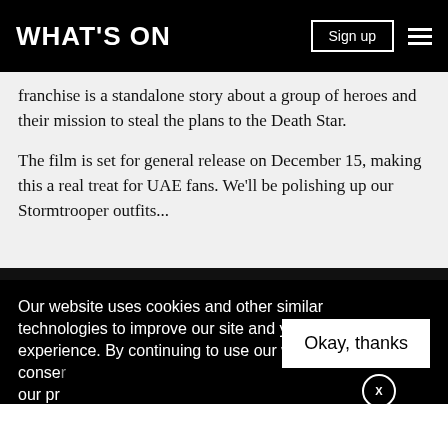WHAT'S ON | Sign up
franchise is a standalone story about a group of heroes and their mission to steal the plans to the Death Star.
The film is set for general release on December 15, making this a real treat for UAE fans. We'll be polishing up our Stormtrooper outfits...
[Figure (screenshot): YouTube video thumbnail showing Star Wars logo and title 'Rogue One: A Star Wars Story Trail...']
Our website uses cookies and other similar technologies to improve our site and your online experience. By continuing to use our website you conse... our pr...